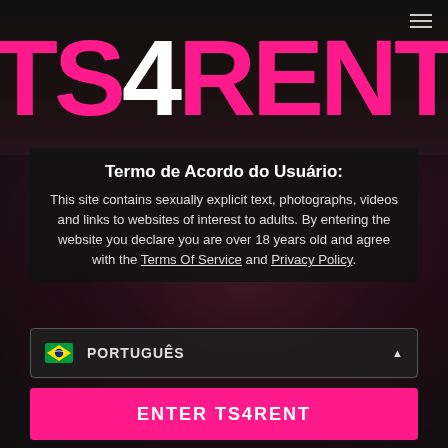[Figure (logo): TS4RENT logo in large bold pink text with white '4', on dark background]
Termo de Acordo do Usuário:
This site contains sexually explicit text, photographs, videos and links to websites of interest to adults. By entering the website you declare you are over 18 years old and agree with the Terms Of Service and Privacy Policy.
[Figure (screenshot): Language selector showing Brazilian flag and PORTUGUÊS label with dropdown arrow]
[Figure (screenshot): Pink button with text ENTER TS4RENT]
Eu discordo - deixe o site